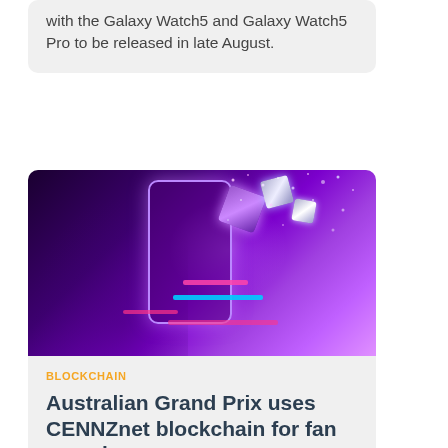with the Galaxy Watch5 and Galaxy Watch5 Pro to be released in late August.
[Figure (photo): Dark purple/violet background with a hand holding a smartphone, glowing 3D blockchain cubes floating above, and neon pink/blue horizontal bars, representing blockchain technology.]
BLOCKCHAIN
Australian Grand Prix uses CENNZnet blockchain for fan experience
CENNZnet was employed by Power'd Digital to deliver the Formula 1 Australian Grand Prix 2022